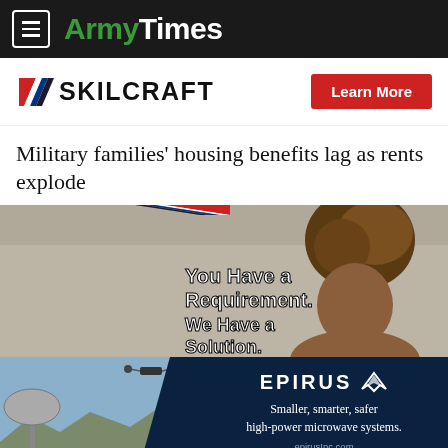ArmyTimes
[Figure (logo): SKILCRAFT logo with diagonal flag stripes and Learn More button]
Military families' housing benefits lag as rents explode
[Figure (photo): AbilityOne/SKILCRAFT advertisement showing woman with upswept hair and text: You Have a Requirement. We Have a Solution.]
[Figure (photo): Epirus advertisement showing military radar equipment and drone with text: Smaller, smarter, safer high-power microwave systems. epirusInc.com]